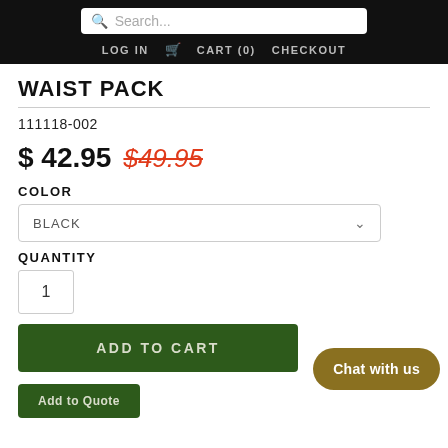Search... | LOG IN  CART (0)  CHECKOUT
WAIST PACK
111118-002
$ 42.95  $49.95
COLOR
BLACK
QUANTITY
1
ADD TO CART
Add to Quote
Chat with us